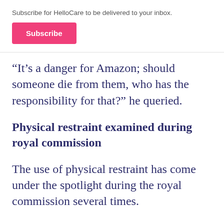Subscribe for HelloCare to be delivered to your inbox.
Subscribe
“It’s a danger for Amazon; should someone die from them, who has the responsibility for that?” he queried.
Physical restraint examined during royal commission
The use of physical restraint has come under the spotlight during the royal commission several times.
Two women revealed to the royal